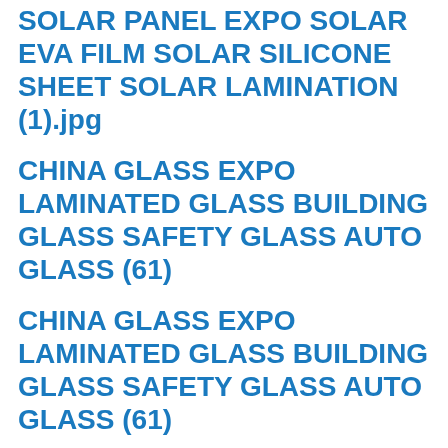SOLAR PANEL EXPO SOLAR EVA FILM SOLAR SILICONE SHEET SOLAR LAMINATION (1).jpg
CHINA GLASS EXPO LAMINATED GLASS BUILDING GLASS SAFETY GLASS AUTO GLASS (61)
CHINA GLASS EXPO LAMINATED GLASS BUILDING GLASS SAFETY GLASS AUTO GLASS (61)
CHINA GLASS EXPO LAMINATED GLASS BUILDING GLASS SAFETY GLASS AUTO GLASS